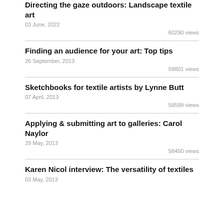Directing the gaze outdoors: Landscape textile art
03 June, 2022
60290 views
Finding an audience for your art: Top tips
26 September, 2013
58801 views
Sketchbooks for textile artists by Lynne Butt
07 April, 2013
58599 views
Applying & submitting art to galleries: Carol Naylor
29 May, 2013
58450 views
Karen Nicol interview: The versatility of textiles
03 May, 2013